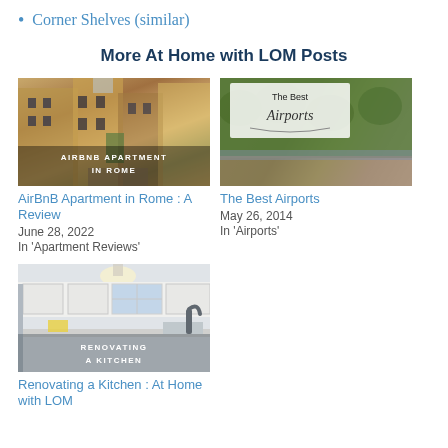Corner Shelves (similar)
More At Home with LOM Posts
[Figure (photo): Narrow cobblestone European alleyway with tall buildings, text overlay: AIRBNB APARTMENT IN ROME]
AirBnB Apartment in Rome : A Review
June 28, 2022
In 'Apartment Reviews'
[Figure (photo): Green hedge wall exterior with light box overlay reading 'The Best Airports' in cursive]
The Best Airports
May 26, 2014
In 'Airports'
[Figure (photo): Kitchen renovation photo with white cabinets, stainless fridge, black faucet; text overlay: RENOVATING A KITCHEN]
Renovating a Kitchen : At Home with LOM